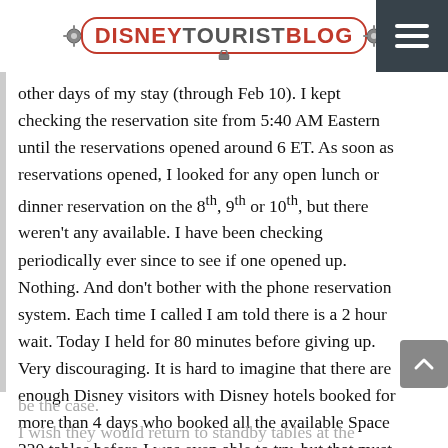DISNEYTOURISTBLOG
other days of my stay (through Feb 10). I kept checking the reservation site from 5:40 AM Eastern until the reservations opened around 6 ET. As soon as reservations opened, I looked for any open lunch or dinner reservation on the 8th, 9th or 10th, but there weren't any available. I have been checking periodically ever since to see if one opened up. Nothing. And don't bother with the phone reservation system. Each time I called I am told there is a 2 hour wait. Today I held for 80 minutes before giving up. Very discouraging. It is hard to imagine that there are enough Disney visitors with Disney hotels booked for more than 4 days who booked all the available Space 220 tables before I was even able to try, but that must be the case.
I wish they would return to standby tables at the bottom so people like me could still have a chance